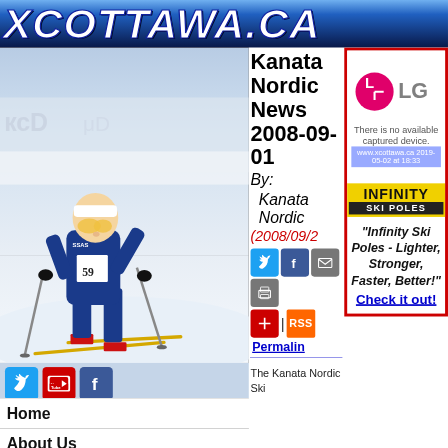XCOTTAWA.CA
[Figure (photo): Cross-country skier in blue suit with bib number 59, racing with poles on snowy course]
Kanata Nordic News 2008-09-01
By: Kanata Nordic
(2008/09/...
[Figure (logo): LG logo with pink circle icon and grey text. Caption: There is no available captured device. URL bar: www.xcottawa.ca 2019-05-02 at 18:33]
[Figure (logo): Infinity Ski Poles logo: yellow background with black INFINITY text and black SKI POLES bar]
"Infinity Ski Poles - Lighter, Stronger, Faster, Better!"
Check it out!
[Figure (logo): Twitter bird icon (blue)]
[Figure (logo): YouTube logo]
[Figure (logo): Facebook logo (blue)]
Home
About Us
Team 2017
The Kanata Nordic Ski